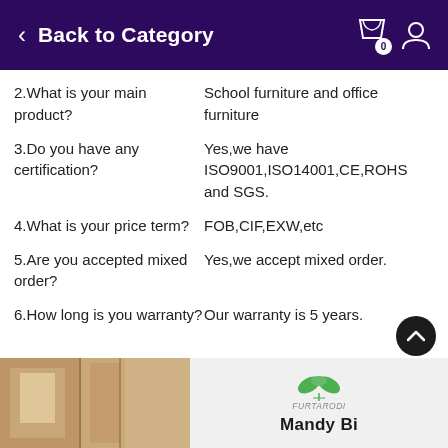Back to Category
2.What is your main product?	School furniture and office furniture
3.Do you have any certification?	Yes,we have ISO9001,ISO14001,CE,ROHS and SGS.
4.What is your price term?	FOB,CIF,EXW,etc
5.Are you accepted mixed order?	Yes,we accept mixed order.
6.How long is you warranty?	Our warranty is 5 years.
[Figure (screenshot): Bottom banner with green border showing a room photo on the left and a logo with 'Mandy Bi' text on the right]